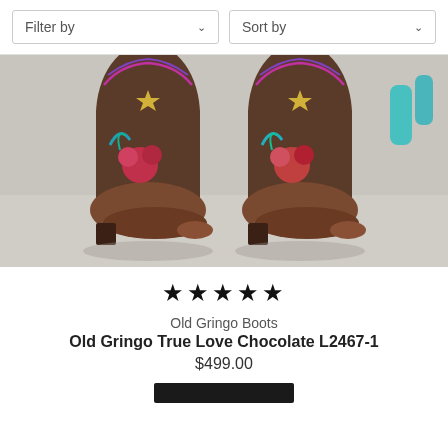Filter by
Sort by
[Figure (photo): Close-up photograph of a pair of Old Gringo cowboy boots with colorful embroidery including roses, stars, and turquoise details on brown leather, photographed from the toe-level on a light grey floor]
★★★★★
Old Gringo Boots
Old Gringo True Love Chocolate L2467-1
$499.00